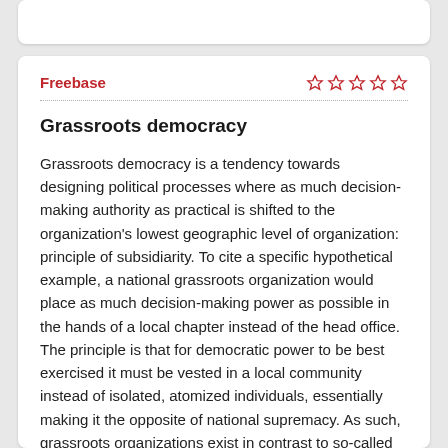Freebase
Grassroots democracy
Grassroots democracy is a tendency towards designing political processes where as much decision-making authority as practical is shifted to the organization's lowest geographic level of organization: principle of subsidiarity. To cite a specific hypothetical example, a national grassroots organization would place as much decision-making power as possible in the hands of a local chapter instead of the head office. The principle is that for democratic power to be best exercised it must be vested in a local community instead of isolated, atomized individuals, essentially making it the opposite of national supremacy. As such, grassroots organizations exist in contrast to so-called participatory systems, which tend to